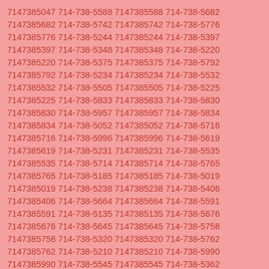7147385047 714-738-5588 7147385588 714-738-5682 7147385682 714-738-5742 7147385742 714-738-5776 7147385776 714-738-5244 7147385244 714-738-5397 7147385397 714-738-5348 7147385348 714-738-5220 7147385220 714-738-5375 7147385375 714-738-5792 7147385792 714-738-5234 7147385234 714-738-5532 7147385532 714-738-5505 7147385505 714-738-5225 7147385225 714-738-5833 7147385833 714-738-5830 7147385830 714-738-5957 7147385957 714-738-5834 7147385834 714-738-5052 7147385052 714-738-5716 7147385716 714-738-5996 7147385996 714-738-5619 7147385619 714-738-5231 7147385231 714-738-5535 7147385535 714-738-5714 7147385714 714-738-5765 7147385765 714-738-5185 7147385185 714-738-5019 7147385019 714-738-5238 7147385238 714-738-5406 7147385406 714-738-5664 7147385664 714-738-5591 7147385591 714-738-5135 7147385135 714-738-5676 7147385676 714-738-5645 7147385645 714-738-5758 7147385758 714-738-5320 7147385320 714-738-5762 7147385762 714-738-5210 7147385210 714-738-5990 7147385990 714-738-5545 7147385545 714-738-5362 7147385362 714-738-5040 7147385040 714-738-5491 7147385491 714-738-5025 7147385025 714-738-5780 7147385780 714-738-5496 7147385496 714-738-5144 7147385144 714-738-5958 7147385958 714-738-5574 7147385574 714-738-5432 7147385432 714-738-5708 7147385708 714-738-5757 7147385757 714-738-5305 7147385305 714-738-5294 7147385294 714-738-5114 7147385114 714-738-5965 7147385965 714-738-5092 7147385092 714-738-5643 7147385643 714-738-5856 7147385856 714-738-